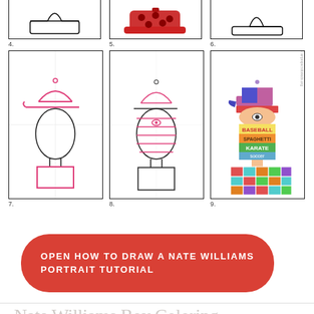[Figure (illustration): Step-by-step drawing tutorial grid showing steps 4-9 of how to draw a Nate Williams portrait. Steps 4-6 (partial top row) show a hat outline, a red polka-dot hat, and a plain hat. Steps 7-9 (full row) show: step 7 - pink line drawing of a face with baseball cap and body outline; step 8 - pencil sketch of face with horizontal stripe lines and cap; step 9 - fully colored portrait with blue/purple cap, colorful horizontal text bands reading BASEBALL, SPAGHETTI, KARATE, soccer, and a patterned shirt.]
OPEN HOW TO DRAW A NATE WILLIAMS PORTRAIT TUTORIAL
Nate Williams Boy Coloring